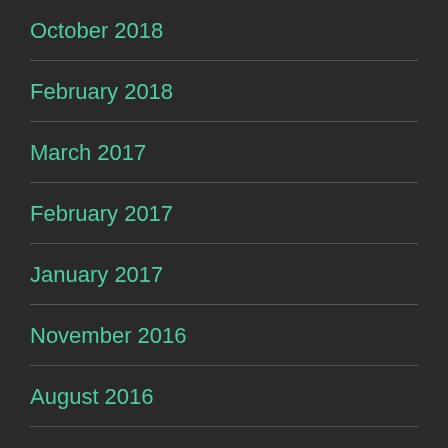October 2018
February 2018
March 2017
February 2017
January 2017
November 2016
August 2016
July 2016